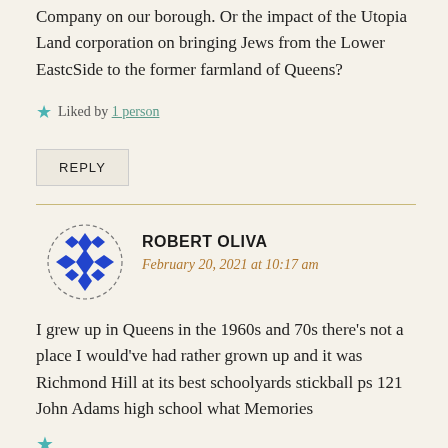Company on our borough. Or the impact of the Utopia Land corporation on bringing Jews from the Lower EastcSide to the former farmland of Queens?
Liked by 1 person
REPLY
ROBERT OLIVA
February 20, 2021 at 10:17 am
I grew up in Queens in the 1960s and 70s there's not a place I would've had rather grown up and it was Richmond Hill at its best schoolyards stickball ps 121 John Adams high school what Memories